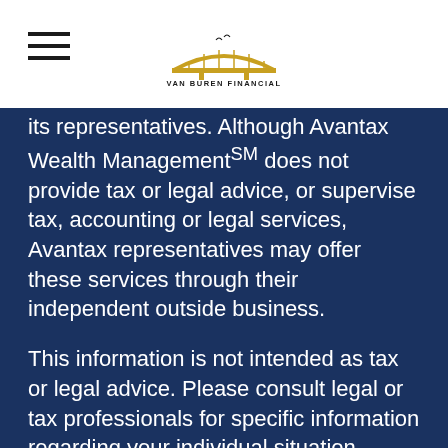Van Buren Financial
its representatives. Although Avantax Wealth Managementˢᴹ does not provide tax or legal advice, or supervise tax, accounting or legal services, Avantax representatives may offer these services through their independent outside business.
This information is not intended as tax or legal advice. Please consult legal or tax professionals for specific information regarding your individual situation.
Content, links, and some material within this website may have been created by a third-party for use by an Avantax affiliated representative. This content is for educational and informational